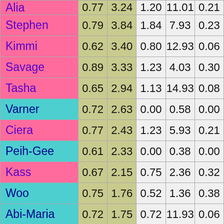| Name | Col1 | Col2 | Col3 | Col4 | Col5 |
| --- | --- | --- | --- | --- | --- |
| Stephen | 0.79 | 3.84 | 1.84 | 7.93 | 0.23 |
| Kimmi | 0.62 | 3.40 | 0.80 | 12.93 | 0.06 |
| Savage | 0.89 | 3.33 | 1.23 | 4.03 | 0.30 |
| Tasha | 0.65 | 2.94 | 1.13 | 14.93 | 0.08 |
| Varner | 0.72 | 2.63 | 0.00 | 0.58 | 0.00 |
| Ciera | 0.77 | 2.43 | 1.23 | 5.93 | 0.21 |
| Peih-Gee | 0.61 | 2.33 | 0.00 | 0.38 | 0.00 |
| Kass | 0.67 | 2.15 | 0.75 | 2.36 | 0.32 |
| Woo | 0.75 | 1.76 | 0.52 | 1.36 | 0.38 |
| Abi-Maria | 0.72 | 1.75 | 0.72 | 11.93 | 0.06 |
| Shirin | 0.37 | 1.56 | 0.00 | 0.21 | 0.00 |